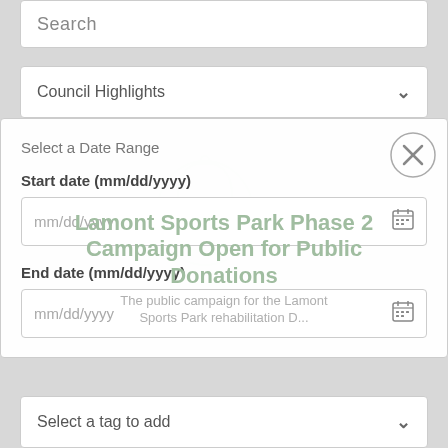Search
Council Highlights
Select a Date Range
Start date (mm/dd/yyyy)
mm/dd/yyyy
Lamont Sports Park Phase 2 Campaign Open for Public Donations
The public campaign for the Lamont Sports Park rehabilitation D...
End date (mm/dd/yyyy)
mm/dd/yyyy
Select a tag to add